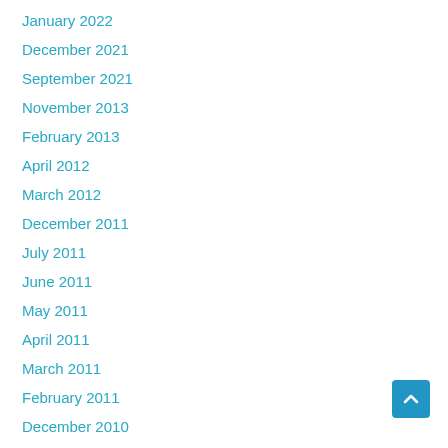January 2022
December 2021
September 2021
November 2013
February 2013
April 2012
March 2012
December 2011
July 2011
June 2011
May 2011
April 2011
March 2011
February 2011
December 2010